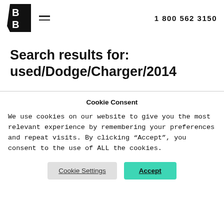[Figure (logo): BB logo — two letter Bs stacked on a black angular background, resembling a shield or tab shape]
1 800 562 3150
Search results for: used/Dodge/Charger/2014
Cookie Consent
We use cookies on our website to give you the most relevant experience by remembering your preferences and repeat visits. By clicking “Accept”, you consent to the use of ALL the cookies.
Cookie Settings | Accept